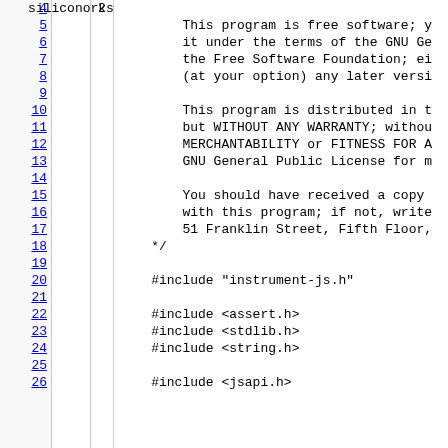Source code viewer showing lines 4-26 of a C file with GPL license header and includes: instrument-js.h, assert.h, stdlib.h, string.h, jsapi.h
| line | col | code |
| --- | --- | --- |
| 4 | siliconorks | 2 |  |
| 5 |  |  |         This program is free software; y |
| 6 |  |  |         it under the terms of the GNU Ge |
| 7 |  |  |         the Free Software Foundation; ei |
| 8 |  |  |         (at your option) any later versi |
| 9 |  |  |  |
| 10 |  |  |         This program is distributed in t |
| 11 |  |  |         but WITHOUT ANY WARRANTY; withou |
| 12 |  |  |         MERCHANTABILITY or FITNESS FOR A |
| 13 |  |  |         GNU General Public License for m |
| 14 |  |  |  |
| 15 |  |  |         You should have received a copy |
| 16 |  |  |         with this program; if not, write |
| 17 |  |  |         51 Franklin Street, Fifth Floor, |
| 18 |  |  |     */ |
| 19 |  |  |  |
| 20 |  |  |     #include "instrument-js.h" |
| 21 |  |  |  |
| 22 |  |  |     #include <assert.h> |
| 23 |  |  |     #include <stdlib.h> |
| 24 |  |  |     #include <string.h> |
| 25 |  |  |  |
| 26 |  |  |     #include <jsapi.h> |